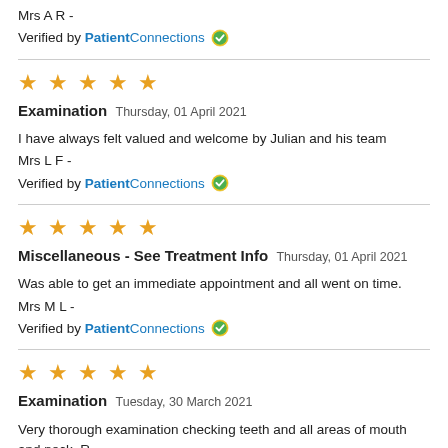Mrs A R -
Verified by PatientConnections ✔
★★★★★
Examination Thursday, 01 April 2021
I have always felt valued and welcome by Julian and his team
Mrs L F -
Verified by PatientConnections ✔
★★★★★
Miscellaneous - See Treatment Info Thursday, 01 April 2021
Was able to get an immediate appointment and all went on time.
Mrs M L -
Verified by PatientConnections ✔
★★★★★
Examination Tuesday, 30 March 2021
Very thorough examination checking teeth and all areas of mouth and neck. R